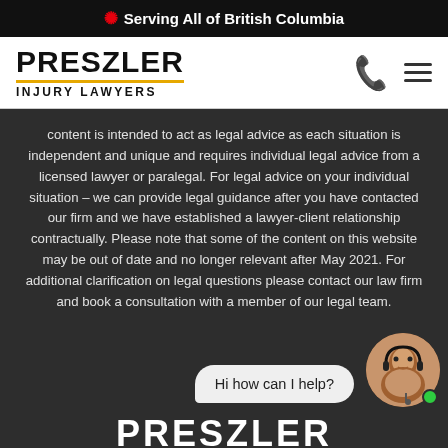🍁 Serving All of British Columbia
[Figure (logo): Preszler Injury Lawyers logo with orange divider line, phone icon and hamburger menu]
content is intended to act as legal advice as each situation is independent and unique and requires individual legal advice from a licensed lawyer or paralegal. For legal advice on your individual situation – we can provide legal guidance after you have contacted our firm and we have established a lawyer-client relationship contractually. Please note that some of the content on this website may be out of date and no longer relevant after May 2021. For additional clarification on legal questions please contact our law firm and book a consultation with a member of our legal team.
[Figure (photo): Chat bubble saying 'Hi how can I help?' and a customer service agent with headset and green online indicator]
PRESZLER